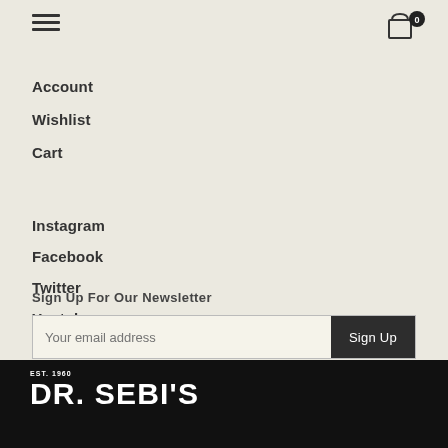[Figure (other): Hamburger menu icon (three horizontal lines)]
[Figure (other): Shopping cart icon with badge showing 0]
Account
Wishlist
Cart
Instagram
Facebook
Twitter
Youtube
Sign Up For Our Newsletter
Your email address
Sign Up
EST. 1960 DR. SEBI'S